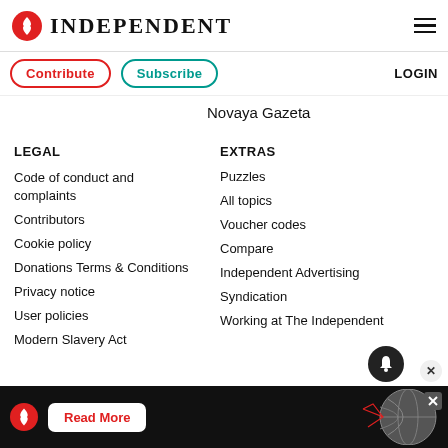INDEPENDENT
Contribute  Subscribe  LOGIN
Novaya Gazeta
LEGAL
Code of conduct and complaints
Contributors
Cookie policy
Donations Terms & Conditions
Privacy notice
User policies
Modern Slavery Act
EXTRAS
Puzzles
All topics
Voucher codes
Compare
Independent Advertising
Syndication
Working at The Independent
[Figure (screenshot): Ad banner at bottom with Independent logo, Read More button, and globe graphic]